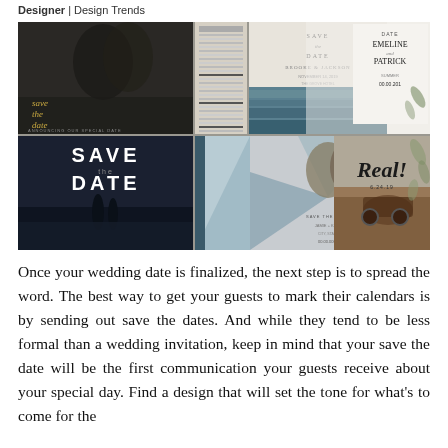Designer | Design Trends
[Figure (photo): Collage of wedding save-the-date card designs featuring couples photos, elegant typography, geometric designs, dark moody styles, and playful modern layouts]
Once your wedding date is finalized, the next step is to spread the word. The best way to get your guests to mark their calendars is by sending out save the dates. And while they tend to be less formal than a wedding invitation, keep in mind that your save the date will be the first communication your guests receive about your special day. Find a design that will set the tone for what's to come for the